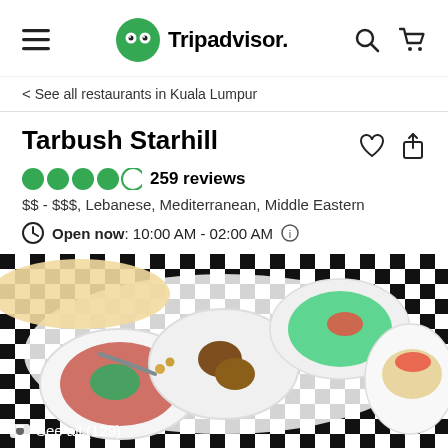Tripadvisor navigation bar with hamburger menu, Tripadvisor logo, search and cart icons
< See all restaurants in Kuala Lumpur
Tarbush Starhill
4.0 circles 259 reviews
$$ - $$$, Lebanese, Mediterranean, Middle Eastern
Open now: 10:00 AM - 02:00 AM
[Figure (photo): Overhead shot of Middle Eastern mezze dishes including tabbouleh, falafel, and tomato salad in white bowls on a black-and-white checkered tablecloth]
See all (129)